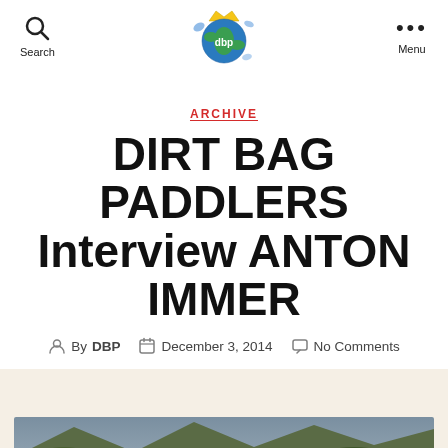Search | [DBP Logo] | Menu
ARCHIVE
DIRT BAG PADDLERS Interview ANTON IMMER
By DBP  December 3, 2014  No Comments
[Figure (photo): Cream/beige background section with a partial photo of a mountain/outdoor landscape with green vegetation at the bottom of the page]